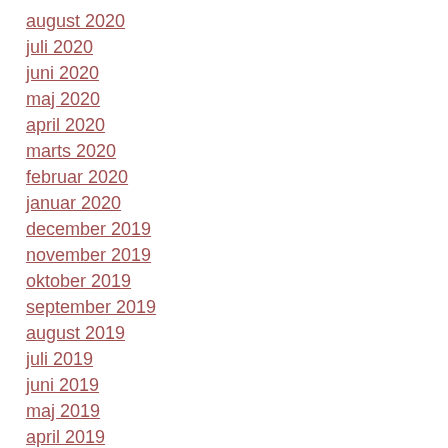august 2020
juli 2020
juni 2020
maj 2020
april 2020
marts 2020
februar 2020
januar 2020
december 2019
november 2019
oktober 2019
september 2019
august 2019
juli 2019
juni 2019
maj 2019
april 2019
marts 2019
februar 2019